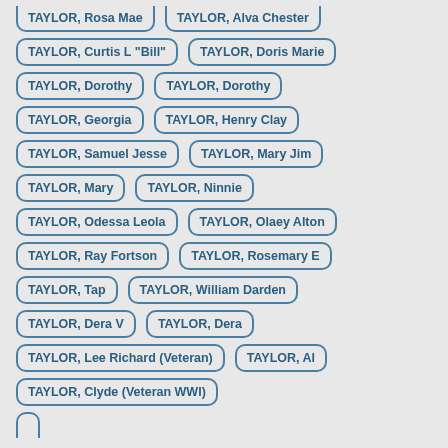TAYLOR, Rosa Mae
TAYLOR, Alva Chester
TAYLOR, Curtis L "Bill"
TAYLOR, Doris Marie
TAYLOR, Dorothy
TAYLOR, Dorothy
TAYLOR, Georgia
TAYLOR, Henry Clay
TAYLOR, Samuel Jesse
TAYLOR, Mary Jim
TAYLOR, Mary
TAYLOR, Ninnie
TAYLOR, Odessa Leola
TAYLOR, Olaey Alton
TAYLOR, Ray Fortson
TAYLOR, Rosemary E
TAYLOR, Tap
TAYLOR, William Darden
TAYLOR, Dera V
TAYLOR, Dera
TAYLOR, Lee Richard (Veteran)
TAYLOR, Al
TAYLOR, Clyde (Veteran WWI)